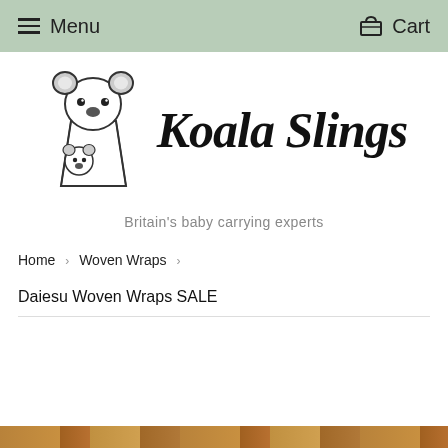Menu   Cart
[Figure (logo): Koala Slings logo: cartoon koala holding a baby koala in a sling, with 'Koala Slings' in bold cursive script]
Britain's baby carrying experts
Home › Woven Wraps ›
Daiesu Woven Wraps SALE